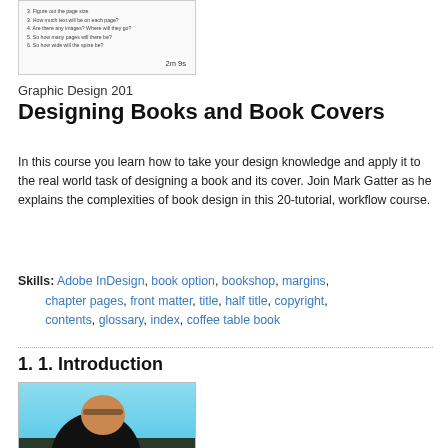[Figure (screenshot): Thumbnail of a course video showing a numbered list of questions about page design, with timestamp '2m 9s']
Graphic Design 201
Designing Books and Book Covers
In this course you learn how to take your design knowledge and apply it to the real world task of designing a book and its cover. Join Mark Gatter as he explains the complexities of book design in this 20-tutorial, workflow course.
Skills: Adobe InDesign, book option, bookshop, margins, chapter pages, front matter, title, half title, copyright, contents, glossary, index, coffee table book
1. 1. Introduction
[Figure (photo): Video thumbnail of a bald man in a black shirt against a blue background, with timestamp '2m 25s']
Photography 204
Lighting For Still and Video